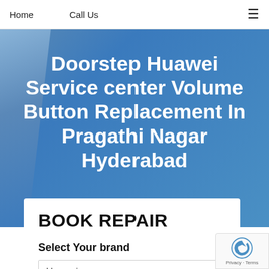Home   Call Us   ≡
Doorstep Huawei Service center Volume Button Replacement In Pragathi Nagar Hyderabad
BOOK REPAIR
Select Your brand
Huawei